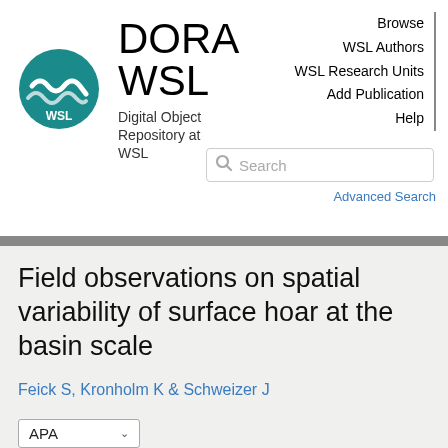[Figure (logo): WSL circular teal logo with wave design and 'WSL' text]
DORA
WSL
Digital Object Repository at WSL
Browse
WSL Authors
WSL Research Units
Add Publication
Help
Search
Advanced Search
Field observations on spatial variability of surface hoar at the basin scale
Feick S, Kronholm K & Schweizer J
APA